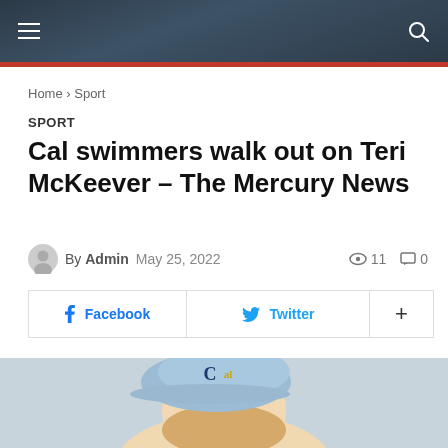Navigation bar with hamburger menu and search icon
Home › Sport
SPORT
Cal swimmers walk out on Teri McKeever – The Mercury News
By Admin   May 25, 2022   11 views   0 comments
[Figure (screenshot): Social share buttons: Facebook, Twitter, and a plus button]
[Figure (photo): Person wearing a light blue Cal baseball cap, cropped to show top of head]